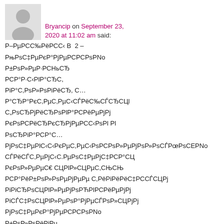[Figure (illustration): Generic user avatar silhouette in light gray]
Bryancip on September 23, 2020 at 11:02 am said:
Р–РµРСС‰РёРСС‹ В  2 –
РњРsС‡РµРєР°РjРµРСРСРsРNo
Р±РsР»РµР·РСНьСЂ
РСР°Р·С‹РlР°СЂС,
РiР°С,РsР»РsРiРёСЂ, С…
Р°СЂР°РєС,РµС,РµС‹СЃРёС‰СЃСЂСЦ
С„РsСЂРjРёСЂРsРlР°РСРёРµРjрj
РєРsРСРёСЂРєСЂРjРµРСС‹РsРl Рl
РsCЂРiР°РСР°С…
РjРsС‡РµРlС‹С‹РєРµС,РµС‹РsРСРsР»РµРjРsР»РsСЃРœРsРСРsР»Цlрo
СЃРёСЃС,РµРjС‹С.РµРsС‡РµРjС‡РСР°СЦ
РєРsР»РµРµС€ СЦРlР»СЦРµС,СЃСЃЦl
РСР°РёР±РsР»РsРµРjРµРµ С,РёРiРёРёС‡РССЃСЦРj
РiРiСЂРsСЦРlР»РµРCр»СЦРЁРSРёРµРjРj
РiСЃС‡РsСЦРlР»РµРSР°РjРµРSРsР»СЦ
РjРsС‡РµРєР°РjРµРСРСРsРNo
Р±РsР»РsРµРjСЂРёРÑ